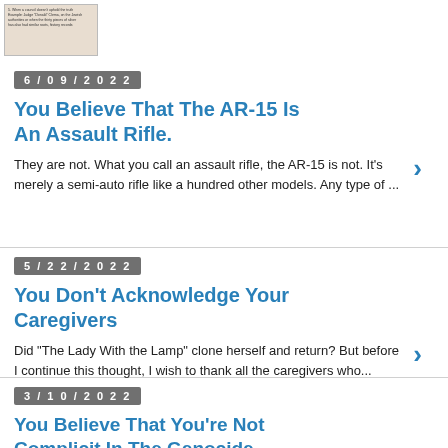[Figure (thumbnail): Small thumbnail image of a page with text, partially visible at top left]
6/09/2022
You Believe That The AR-15 Is An Assault Rifle.
They are not. What you call an assault rifle, the AR-15 is not. It's merely a semi-auto rifle like a hundred other models.  Any type of ...
5/22/2022
You Don't Acknowledge Your Caregivers
Did "The Lady With the Lamp" clone herself and return? But before I continue this thought, I wish to thank all the caregivers who...
3/10/2022
You Believe That You're Not Complicit In The Genocide Against The People Of Ukraine